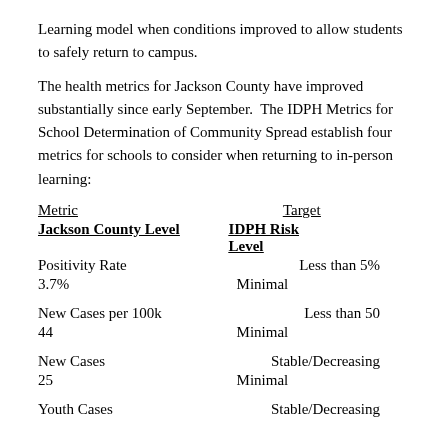Learning model when conditions improved to allow students to safely return to campus.
The health metrics for Jackson County have improved substantially since early September.  The IDPH Metrics for School Determination of Community Spread establish four metrics for schools to consider when returning to in-person learning:
| Metric | Target | Jackson County Level | IDPH Risk Level |
| --- | --- | --- | --- |
| Positivity Rate | Less than 5% |  |  |
| 3.7% |  | Minimal |  |
| New Cases per 100k | Less than 50 |  |  |
| 44 |  | Minimal |  |
| New Cases | Stable/Decreasing |  |  |
| 25 |  | Minimal |  |
| Youth Cases | Stable/Decreasing |  |  |